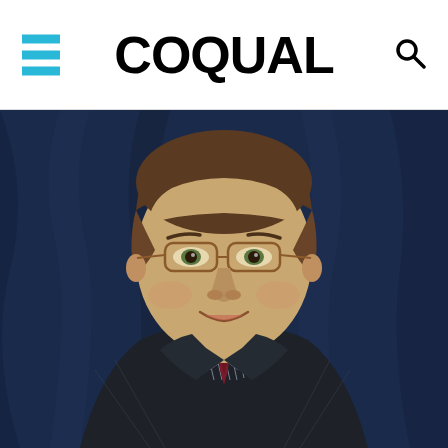COQUAL
[Figure (photo): Professional headshot of a middle-aged man with brown hair, wearing glasses, a dark pinstripe suit, light blue striped dress shirt, and a dark red/burgundy patterned tie. Background is dark blue draped fabric. He is smiling slightly.]